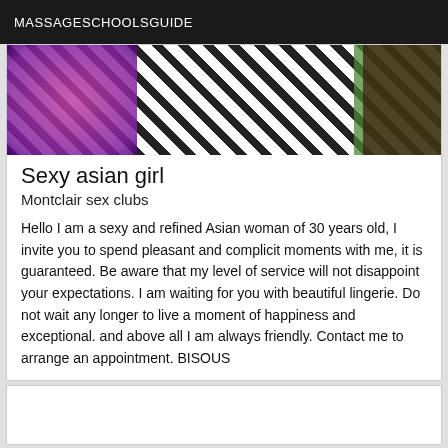MASSAGESCHOOLSGUIDE
[Figure (photo): Partial view of a person wearing a zebra-print top with a purple glittery item on the left and green foliage on the right]
Sexy asian girl
Montclair sex clubs
Hello I am a sexy and refined Asian woman of 30 years old, I invite you to spend pleasant and complicit moments with me, it is guaranteed. Be aware that my level of service will not disappoint your expectations. I am waiting for you with beautiful lingerie. Do not wait any longer to live a moment of happiness and exceptional. and above all I am always friendly. Contact me to arrange an appointment. BISOUS